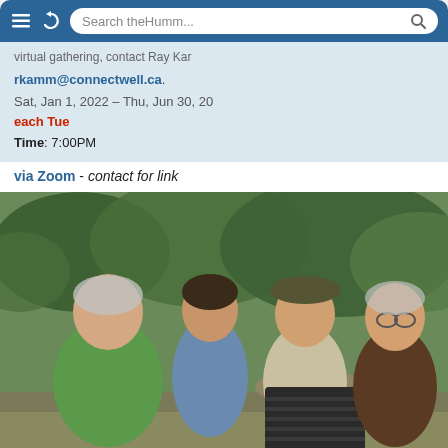Search theHumm...
virtual gathering, contact Ray Kam
rkamm@connectwell.ca.
Sat, Jan 1, 2022 - Thu, Jun 30, 20
each Tue
Time: 7:00PM
via Zoom - contact for link
[Figure (photo): Four men standing outdoors in front of trees and vegetation. The leftmost man wears a green t-shirt, next to him a younger man in a blue shirt, then a man in a cap and light shirt holding a dark rectangular box/beehive, and on the right a man in a brown t-shirt. All are smiling.]